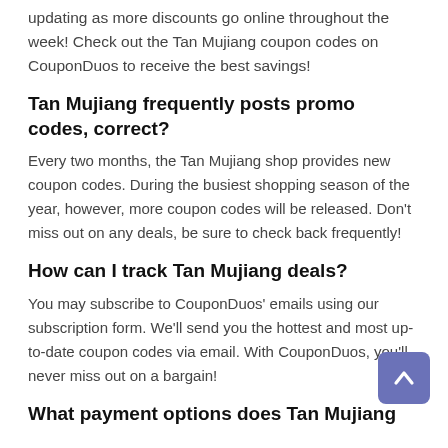updating as more discounts go online throughout the week! Check out the Tan Mujiang coupon codes on CouponDuos to receive the best savings!
Tan Mujiang frequently posts promo codes, correct?
Every two months, the Tan Mujiang shop provides new coupon codes. During the busiest shopping season of the year, however, more coupon codes will be released. Don't miss out on any deals, be sure to check back frequently!
How can I track Tan Mujiang deals?
You may subscribe to CouponDuos' emails using our subscription form. We'll send you the hottest and most up-to-date coupon codes via email. With CouponDuos, you'll never miss out on a bargain!
What payment options does Tan Mujiang